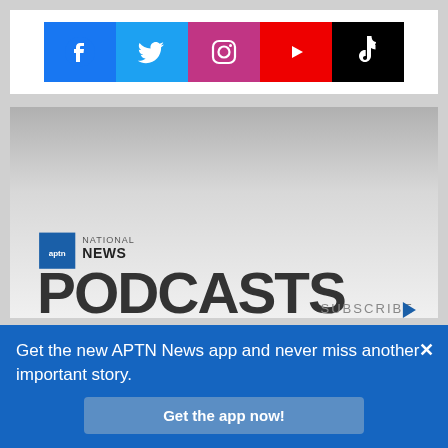[Figure (infographic): Social media icons row: Facebook (blue), Twitter (light blue), Instagram (purple/pink), YouTube (red), TikTok (black), each with white icon on colored square background]
[Figure (illustration): APTN National News Podcasts promotional banner image with gradient gray background, APTN logo, text reading NATIONAL NEWS PODCASTS SUBSCRIBE with blue arrow]
Get the new APTN News app and never miss another important story.
Get the app now!